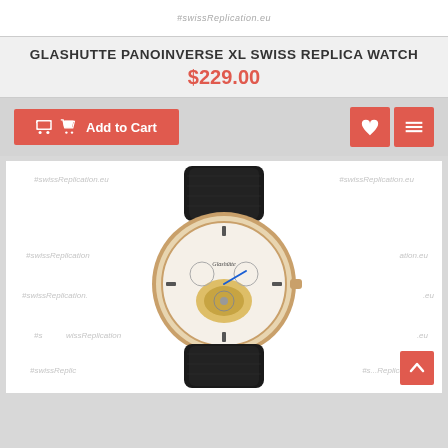#swissReplication.eu
GLASHUTTE PANOINVERSE XL SWISS REPLICA WATCH
$229.00
[Figure (screenshot): Add to Cart button (red) and wishlist/compare icon buttons (red) on a grey action bar]
[Figure (photo): Glashutte PanoInverse XL watch with black leather strap, rose gold case, skeleton dial showing tourbillon movement, with SwissReplication.eu watermarks]